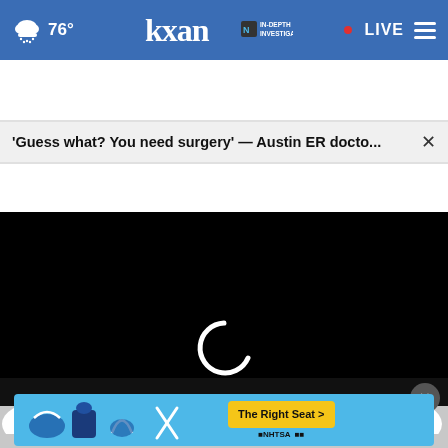76° kxan IN-DEPTH INVESTIGATIVE • LIVE
'Guess what? You need surgery' — Austin ER docto... ×
[Figure (screenshot): Black video player area with white loading spinner (circular arc) in center]
[Figure (screenshot): Bottom strip with dark background, cloud imagery, close button (×), and advertisement banner for The Right Seat from NHTSA featuring car seat icons on blue background]